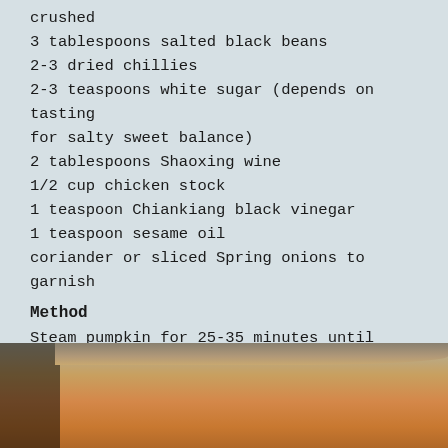crushed
3 tablespoons salted black beans
2-3 dried chillies
2-3 teaspoons white sugar (depends on tasting for salty sweet balance)
2 tablespoons Shaoxing wine
1/2 cup chicken stock
1 teaspoon Chiankiang black vinegar
1 teaspoon sesame oil
coriander or sliced Spring onions to garnish
Method
Steam pumpkin for 25-35 minutes until tender. I use a steamer basket over a wok.
[Figure (photo): Photo of a wooden steamer basket over a wok, showing the rim of the bamboo steamer]